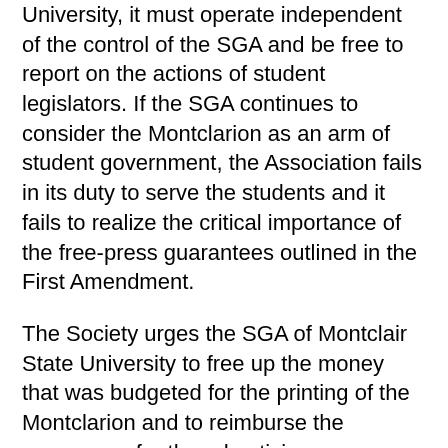University, it must operate independent of the control of the SGA and be free to report on the actions of student legislators. If the SGA continues to consider the Montclarion as an arm of student government, the Association fails in its duty to serve the students and it fails to realize the critical importance of the free-press guarantees outlined in the First Amendment.
The Society urges the SGA of Montclair State University to free up the money that was budgeted for the printing of the Montclarion and to reimburse the newspaper for the advertising revenue that was lost because the most recent edition could not be printed.
Such an honorable move would suggest that the